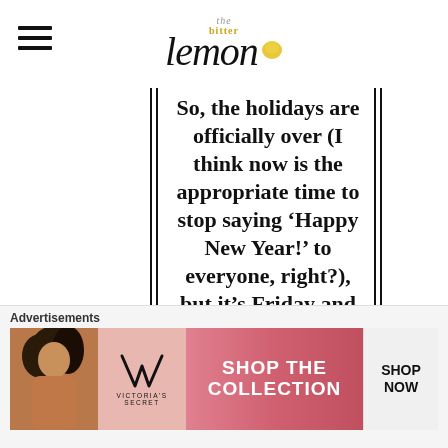the bitter lemon
So, the holidays are officially over (I think now is the appropriate time to stop saying ‘Happy New Year!’ to everyone, right?), but it’s Friday and I’m sure this week was a struuuuggggle for everyone involved. I actually didn’t hate my life too much on Tuesday morning, but as each morning passed, I hit the [...]
[Figure (photo): Victoria's Secret advertisement banner with model, VS logo, SHOP THE COLLECTION text, and SHOP NOW button]
Advertisements